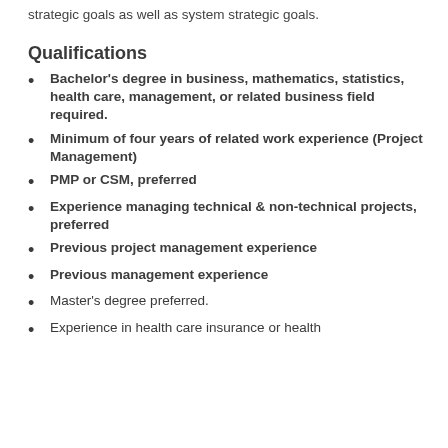strategic goals as well as system strategic goals.
Qualifications
Bachelor's degree in business, mathematics, statistics, health care, management, or related business field required.
Minimum of four years of related work experience (Project Management)
PMP or CSM, preferred
Experience managing technical & non-technical projects, preferred
Previous project management experience
Previous management experience
Master's degree preferred.
Experience in health care insurance or health